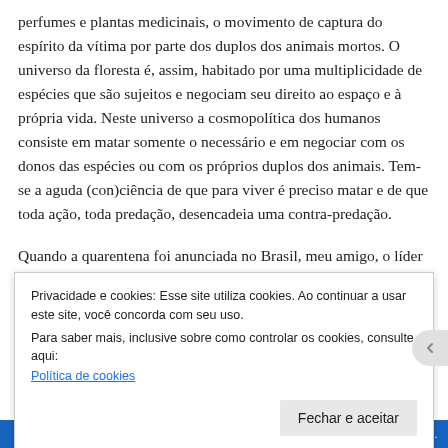perfumes e plantas medicinais, o movimento de captura do espírito da vítima por parte dos duplos dos animais mortos. O universo da floresta é, assim, habitado por uma multiplicidade de espécies que são sujeitos e negociam seu direito ao espaço e à própria vida. Neste universo a cosmopolítica dos humanos consiste em matar somente o necessário e em negociar com os donos das espécies ou com os próprios duplos dos animais. Tem-se a aguda (con)ciência de que para viver é preciso matar e de que toda ação, toda predação, desencadeia uma contra-predação.
Quando a quarentena foi anunciada no Brasil, meu amigo, o líder de canto do cipó, Jhā Sales Huni Kuin, se despediu por
Privacidade e cookies: Esse site utiliza cookies. Ao continuar a usar este site, você concorda com seu uso.
Para saber mais, inclusive sobre como controlar os cookies, consulte aqui:
Política de cookies
Fechar e aceitar